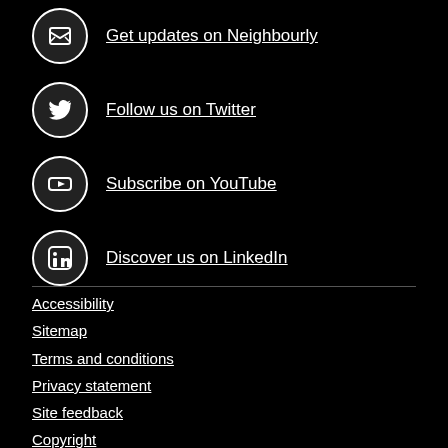Get updates on Neighbourly
Follow us on Twitter
Subscribe on YouTube
Discover us on LinkedIn
Accessibility
Sitemap
Terms and conditions
Privacy statement
Site feedback
Copyright